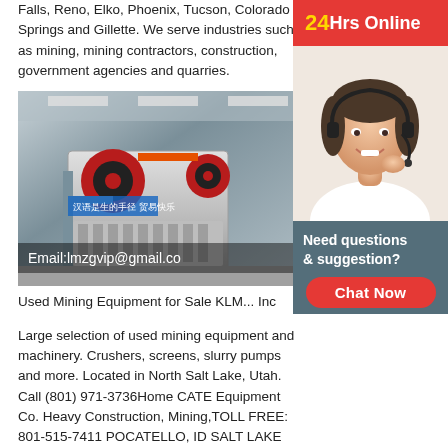Falls, Reno, Elko, Phoenix, Tucson, Colorado Springs and Gillette. We serve industries such as mining, mining contractors, construction, government agencies and quarries.
[Figure (photo): Industrial mining machinery (jaw crusher) in a warehouse setting. Overlay text reads: Email:lmzgvip@gmail.co]
Used Mining Equipment for Sale KLM... Inc
Large selection of used mining equipment and machinery. Crushers, screens, slurry pumps and more. Located in North Salt Lake, Utah. Call (801) 971-3736Home CATE Equipment Co. Heavy Construction, Mining,TOLL FREE: 801-515-7411 POCATELLO, ID SALT LAKE CITY, UT View
[Figure (infographic): Right sidebar with red banner '24Hrs Online', photo of smiling woman with headset, dark chat box with text 'Need questions & suggestion?' and red 'Chat Now' button]